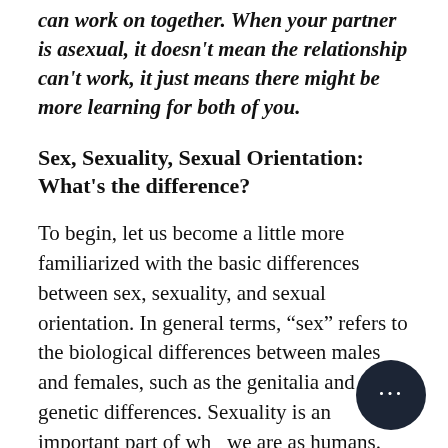can work on together. When your partner is asexual, it doesn't mean the relationship can't work, it just means there might be more learning for both of you.
Sex, Sexuality, Sexual Orientation: What's the difference?
To begin, let us become a little more familiarized with the basic differences between sex, sexuality, and sexual orientation. In general terms, “sex” refers to the biological differences between males and females, such as the genitalia and genetic differences. Sexuality is an important part of who we are as humans. Beyond the ability to reproduce, sexuality also defines